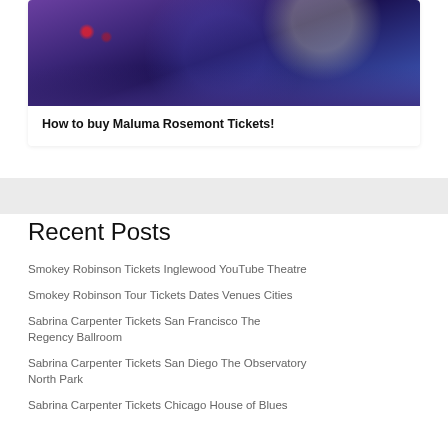[Figure (photo): Concert crowd photo with purple/blue lighting, people silhouetted against stage lights]
How to buy Maluma Rosemont Tickets!
Recent Posts
Smokey Robinson Tickets Inglewood YouTube Theatre
Smokey Robinson Tour Tickets Dates Venues Cities
Sabrina Carpenter Tickets San Francisco The Regency Ballroom
Sabrina Carpenter Tickets San Diego The Observatory North Park
Sabrina Carpenter Tickets Chicago House of Blues